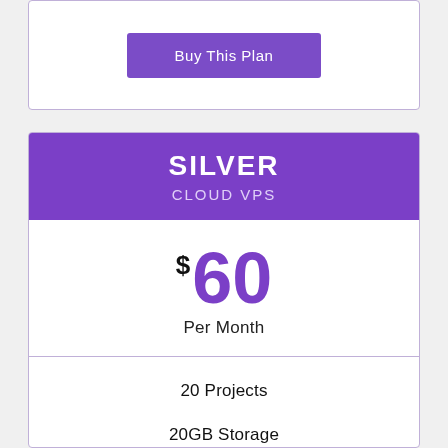Buy This Plan
SILVER
CLOUD VPS
$60 Per Month
20 Projects
20GB Storage